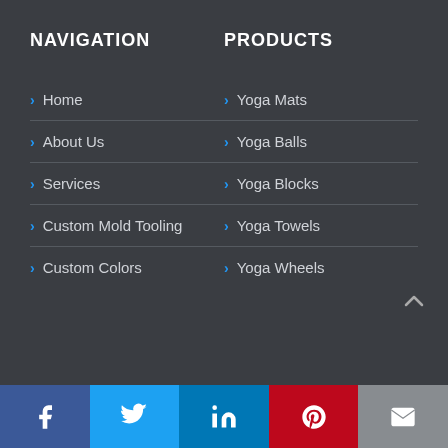NAVIGATION
PRODUCTS
> Home
> Yoga Mats
> About Us
> Yoga Balls
> Services
> Yoga Blocks
> Custom Mold Tooling
> Yoga Towels
> Custom Colors
> Yoga Wheels
[Figure (other): Social media share buttons: Facebook, Twitter, LinkedIn, Pinterest, Email]